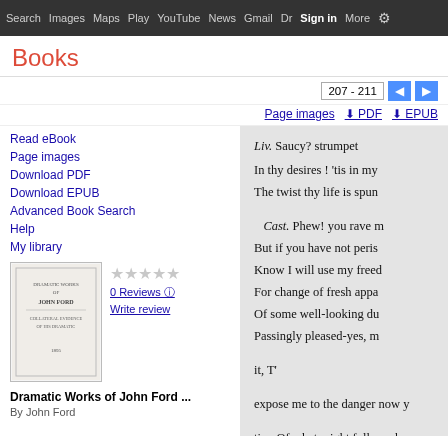Search  Images  Maps  Play  YouTube  News  Gmail  Drive  More  Sign in  Settings
Books
207 - 211
Page images  ⬇ PDF  ⬇ EPUB
Read eBook
Page images
Download PDF
Download EPUB
Advanced Book Search
Help
My library
[Figure (illustration): Book cover thumbnail for Dramatic Works of John Ford]
0 Reviews
Write review
Dramatic Works of John Ford ...
By John Ford
Liv. Saucy? strumpet
In thy desires ! 'tis in my
The twist thy life is spun

Cast. Phew! you rave m
But if you have not peris
Know I will use my freed
For change of fresh appa
Of some well-looking du
Passingly pleased-yes, m

it, T'

expose me to the danger now y

tion Of what might follow ; he